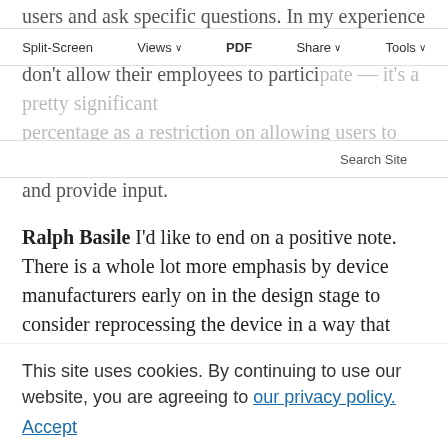users and ask specific questions. In my experience of organizing those, at least 30% of the facilities don't allow their employees to participate — it's a pretty significant percentage as a restriction on allowing users to participate and provide input.
Split-Screen   Views   PDF   Share   Tools
Search Site
Ralph Basile I'd like to end on a positive note. There is a whole lot more emphasis by device manufacturers early on in the design stage to consider reprocessing the device in a way that didn't exist in the past. More has got to be done. But I've seen a sea change in the last decade. It was like something that was not even thought of before. And now I see more and more device manufacturers making
reprocessing a key consideration in the design of a device. It doesn't happen at the end — it happens at the start of design. That's an encouraging sign that things can and will improve in the future.
This site uses cookies. By continuing to use our website, you are agreeing to our privacy policy. Accept